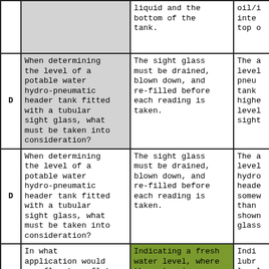|  | Question | Answer A | Answer B |
| --- | --- | --- | --- |
|  | liquid and the bottom of the tank. | oil/i inte top o |
| D | When determining the level of a potable water hydro-pneumatic header tank fitted with a tubular sight glass, what must be taken into consideration? | The sight glass must be drained, blown down, and re-filled before each reading is taken. | The a level pneum tank highe level sight |
| D | When determining the level of a potable water hydro-pneumatic header tank fitted with a tubular sight glass, what must be taken into consideration? | The sight glass must be drained, blown down, and re-filled before each reading is taken. | The a level hydro heade somew than shown glass |
| A | In what application would a reflex type flat gauge glass be | Indicating a fresh water level, where the water is clear. | Indi lubr level oil |